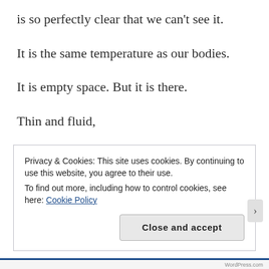is so perfectly clear that we can't see it.
It is the same temperature as our bodies.
It is empty space. But it is there.
Thin and fluid,
awaiting murky knowledge.
shining a light in the dark, the edge of the light.
The border of the darkness is the lacuna.
Privacy & Cookies: This site uses cookies. By continuing to use this website, you agree to their use.
To find out more, including how to control cookies, see here: Cookie Policy